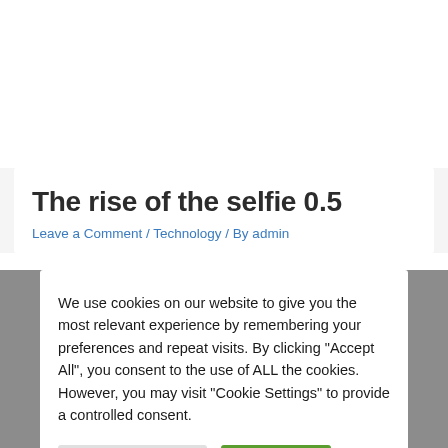The rise of the selfie 0.5
Leave a Comment / Technology / By admin
We use cookies on our website to give you the most relevant experience by remembering your preferences and repeat visits. By clicking "Accept All", you consent to the use of ALL the cookies. However, you may visit "Cookie Settings" to provide a controlled consent.